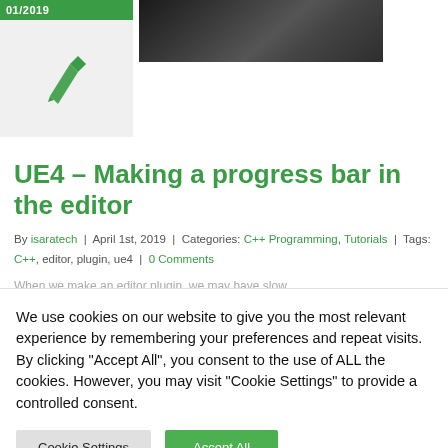[Figure (photo): Dark gradient image thumbnail on the top right of the article card]
[Figure (illustration): Light grey box with a green pen/pencil icon, representing an article thumbnail placeholder]
UE4 – Making a progress bar in the editor
By isaratech | April 1st, 2019 | Categories: C++ Programming, Tutorials | Tags: C++, editor, plugin, ue4 | 0 Comments
When we make an editor plugin, we may have slow…
We use cookies on our website to give you the most relevant experience by remembering your preferences and repeat visits. By clicking "Accept All", you consent to the use of ALL the cookies. However, you may visit "Cookie Settings" to provide a controlled consent.